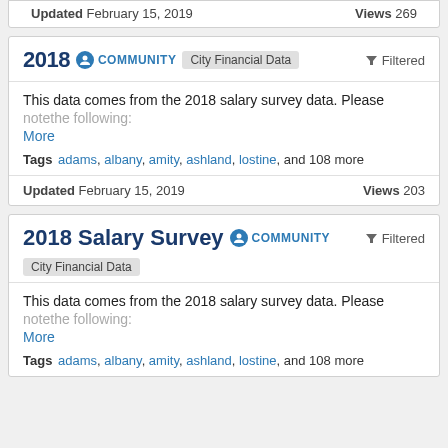Updated February 15, 2019    Views 269
2018  COMMUNITY  City Financial Data  Filtered
This data comes from the 2018 salary survey data. Please notethe following:
More
Tags  adams, albany, amity, ashland, lostine, and 108 more
Updated February 15, 2019    Views 203
2018 Salary Survey  COMMUNITY  City Financial Data  Filtered
This data comes from the 2018 salary survey data. Please notethe following:
More
Tags  adams, albany, amity, ashland, lostine, and 108 more